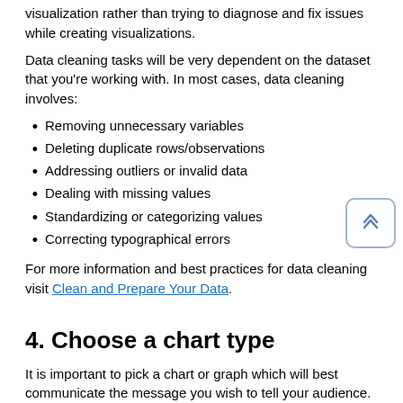visualization rather than trying to diagnose and fix issues while creating visualizations.
Data cleaning tasks will be very dependent on the dataset that you're working with. In most cases, data cleaning involves:
Removing unnecessary variables
Deleting duplicate rows/observations
Addressing outliers or invalid data
Dealing with missing values
Standardizing or categorizing values
Correcting typographical errors
For more information and best practices for data cleaning visit Clean and Prepare Your Data.
4. Choose a chart type
It is important to pick a chart or graph which will best communicate the message you wish to tell your audience. The first step to choosing a chart is to determine what message you're trying to deliver. Are you:
Showing how variables compare to each other?
Showing relationships between data variables?